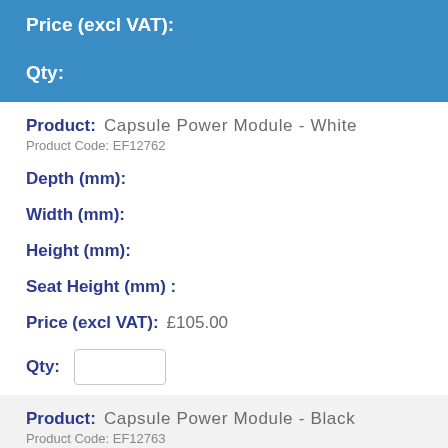Price (excl VAT):
Qty:
Product: Capsule Power Module - White
Product Code: EF12762
Depth (mm):
Width (mm):
Height (mm):
Seat Height (mm) :
Price (excl VAT): £105.00
Qty:
Product: Capsule Power Module - Black
Product Code: EF12763